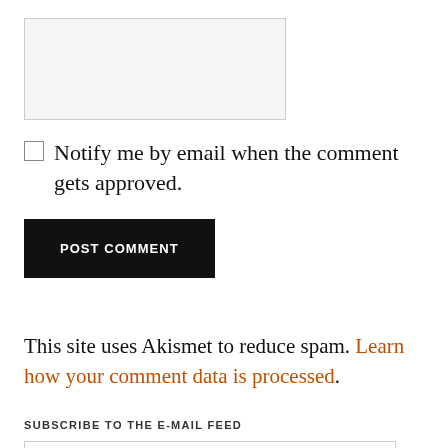[Figure (other): Empty textarea input box with light gray background and border]
Notify me by email when the comment gets approved.
POST COMMENT
This site uses Akismet to reduce spam. Learn how your comment data is processed.
SUBSCRIBE TO THE E-MAIL FEED
Enter your email address: